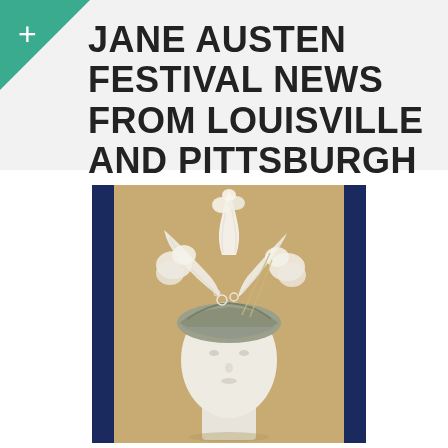JANE AUSTEN FESTIVAL NEWS FROM LOUISVILLE AND PITTSBURGH
[Figure (photo): A white mannequin head wearing a Regency-era white turban hat decorated with large white feathers and lace, displayed against a tan/cardboard background with blue panels on the sides.]